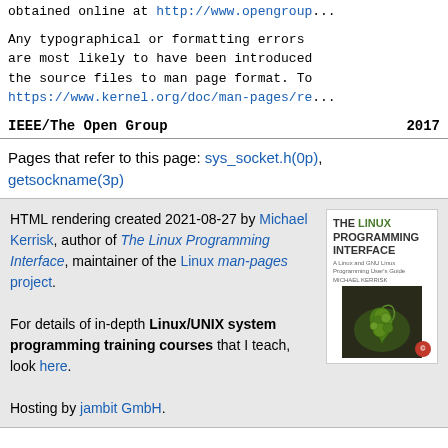obtained online at http://www.opengroup...
Any typographical or formatting errors are most likely to have been introduced the source files to man page format. To https://www.kernel.org/doc/man-pages/re...
IEEE/The Open Group    2017
Pages that refer to this page: sys_socket.h(0p), getsockname(3p)
HTML rendering created 2021-08-27 by Michael Kerrisk, author of The Linux Programming Interface, maintainer of the Linux man-pages project.

For details of in-depth Linux/UNIX system programming training courses that I teach, look here.

Hosting by jambit GmbH.
[Figure (illustration): Book cover of The Linux Programming Interface by Michael Kerrisk, showing a green fern spiral on a dark background.]